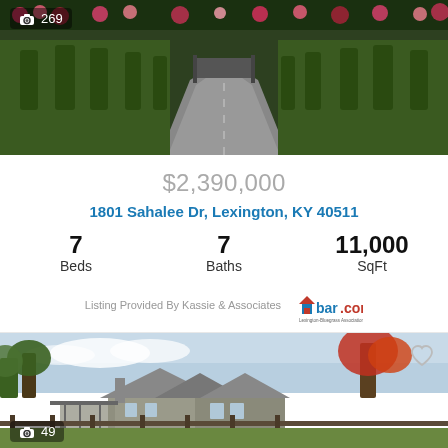[Figure (photo): Aerial view of a long driveway lined with trees and flowers leading to a horse farm gate]
269
$2,390,000
1801 Sahalee Dr, Lexington, KY 40511
7 Beds
7 Baths
11,000 SqFt
Listing Provided By Kassie & Associates
[Figure (logo): lbar.com Lexington-Bluegrass Association of Realtors logo]
[Figure (photo): Stone estate home with covered porch and split-rail fence on green lawn with autumn trees]
49